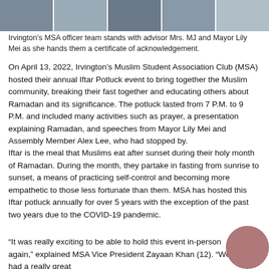[Figure (photo): A strip photo showing Irvington MSA officer team standing with advisor Mrs. MJ and Mayor Lily Mei]
Irvington’s MSA officer team stands with advisor Mrs. MJ and Mayor Lily Mei as she hands them a certificate of acknowledgement.
On April 13, 2022, Irvington’s Muslim Student Association Club (MSA) hosted their annual Iftar Potluck event to bring together the Muslim community, breaking their fast together and educating others about Ramadan and its significance. The potluck lasted from 7 P.M. to 9 P.M. and included many activities such as prayer, a presentation explaining Ramadan, and speeches from Mayor Lily Mei and Assembly Member Alex Lee, who had stopped by.
Iftar is the meal that Muslims eat after sunset during their holy month of Ramadan. During the month, they partake in fasting from sunrise to sunset, a means of practicing self-control and becoming more empathetic to those less fortunate than them. MSA has hosted this Iftar potluck annually for over 5 years with the exception of the past two years due to the COVID-19 pandemic.
“It was really exciting to be able to hold this event in-person again,” explained MSA Vice President Zayaan Khan (12). “We had a really great